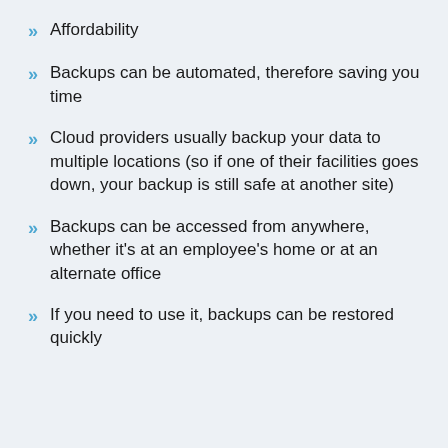Affordability
Backups can be automated, therefore saving you time
Cloud providers usually backup your data to multiple locations (so if one of their facilities goes down, your backup is still safe at another site)
Backups can be accessed from anywhere, whether it’s at an employee’s home or at an alternate office
If you need to use it, backups can be restored quickly